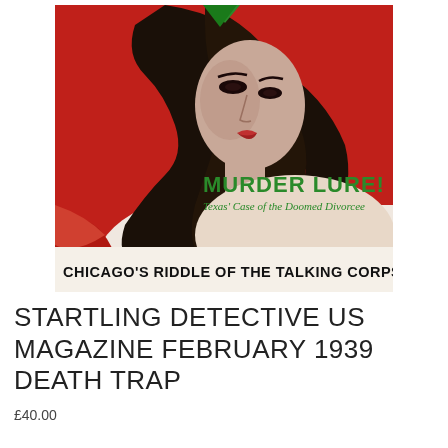[Figure (illustration): Pulp magazine cover of Startling Detective, showing a dark-haired woman against a red background. Text on cover reads 'MURDER LURE! Texas' Case of the Doomed Divorcee' in green, and 'CHICAGO'S RIDDLE OF THE TALKING CORPSE' in black bold at the bottom.]
STARTLING DETECTIVE US MAGAZINE FEBRUARY 1939 DEATH TRAP
£40.00